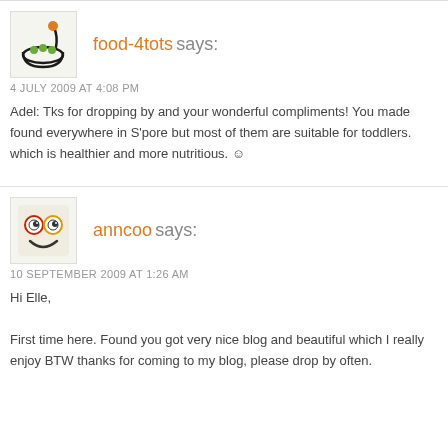food-4tots says:
4 JULY 2009 AT 4:08 PM
Adel: Tks for dropping by and your wonderful compliments! You made found everywhere in S'pore but most of them are suitable for toddlers. which is healthier and more nutritious. :)
anncoo says:
10 SEPTEMBER 2009 AT 1:26 AM
Hi Elle,

First time here. Found you got very nice blog and beautiful which I really enjoy BTW thanks for coming to my blog, please drop by often.